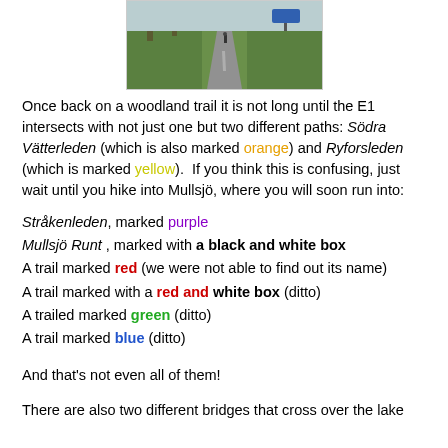[Figure (photo): A road/trail photo showing a paved path with green vegetation and a road sign visible in the upper right, with a person walking in the distance.]
Once back on a woodland trail it is not long until the E1 intersects with not just one but two different paths: Södra Vätterleden (which is also marked orange) and Ryforsleden (which is marked yellow).  If you think this is confusing, just wait until you hike into Mullsjö, where you will soon run into:
Stråkenleden, marked purple
Mullsjö Runt , marked with a black and white box
A trail marked red (we were not able to find out its name)
A trail marked with a red and white box (ditto)
A trailed marked green (ditto)
A trail marked blue (ditto)
And that's not even all of them!
There are also two different bridges that cross over the lake